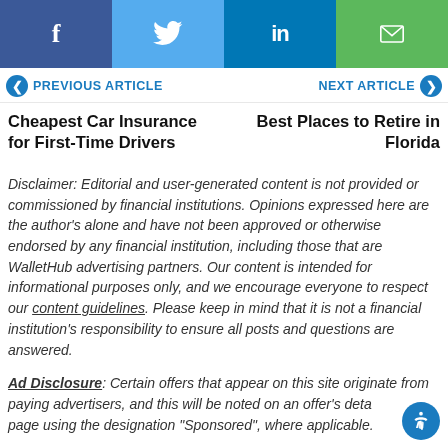[Figure (other): Social sharing bar with Facebook, Twitter, LinkedIn, and Email icons]
PREVIOUS ARTICLE | NEXT ARTICLE navigation row
Cheapest Car Insurance for First-Time Drivers
Best Places to Retire in Florida
Disclaimer: Editorial and user-generated content is not provided or commissioned by financial institutions. Opinions expressed here are the author's alone and have not been approved or otherwise endorsed by any financial institution, including those that are WalletHub advertising partners. Our content is intended for informational purposes only, and we encourage everyone to respect our content guidelines. Please keep in mind that it is not a financial institution's responsibility to ensure all posts and questions are answered.
Ad Disclosure: Certain offers that appear on this site originate from paying advertisers, and this will be noted on an offer's detail page using the designation "Sponsored", where applicable.